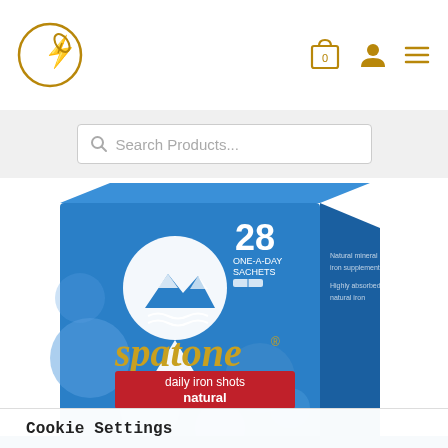[Figure (logo): Circular logo with lightning bolt and leaf/apple symbol in gold outline, top left of header]
[Figure (screenshot): E-commerce website header with cart icon showing 0, user profile icon, and hamburger menu icon in gold]
[Figure (screenshot): Search bar with placeholder text 'Search Products...' on grey background]
[Figure (photo): Product photo of Spatone Daily Iron Shots Natural supplement box, blue packaging with mountain logo and '28 sachets' text]
Cookie Settings